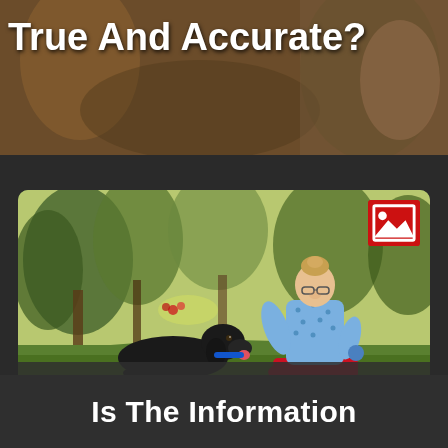True And Accurate?
[Figure (photo): Woman in blue polka-dot shirt and red pants kneeling on grass in a park, facing a black Labrador dog with a blue collar that is lying on the grass. Trees visible in background. A broken image icon (red square with white image symbol) appears in the top right of the photo.]
Is The Information